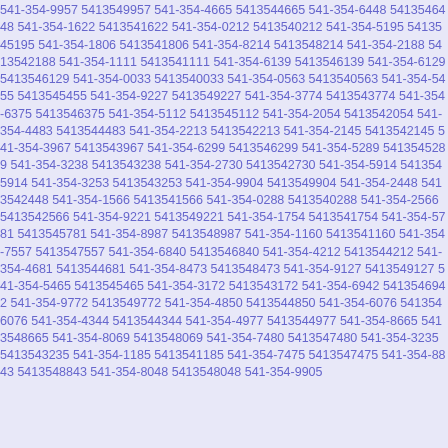541-354-9957 5413549957 541-354-4665 5413544665 541-354-6448 5413546448 541-354-1622 5413541622 541-354-0212 5413540212 541-354-5195 5413545195 541-354-1806 5413541806 541-354-8214 5413548214 541-354-2188 5413542188 541-354-1111 5413541111 541-354-6139 5413546139 541-354-6129 5413546129 541-354-0033 5413540033 541-354-0563 5413540563 541-354-5455 5413545455 541-354-9227 5413549227 541-354-3774 5413543774 541-354-6375 5413546375 541-354-5112 5413545112 541-354-2054 5413542054 541-354-4483 5413544483 541-354-2213 5413542213 541-354-2145 5413542145 541-354-3967 5413543967 541-354-6299 5413546299 541-354-5289 5413545289 541-354-3238 5413543238 541-354-2730 5413542730 541-354-5914 5413545914 541-354-3253 5413543253 541-354-9904 5413549904 541-354-2448 5413542448 541-354-1566 5413541566 541-354-0288 5413540288 541-354-2566 5413542566 541-354-9221 5413549221 541-354-1754 5413541754 541-354-5781 5413545781 541-354-8987 5413548987 541-354-1160 5413541160 541-354-7557 5413547557 541-354-6840 5413546840 541-354-4212 5413544212 541-354-4681 5413544681 541-354-8473 5413548473 541-354-9127 5413549127 541-354-5465 5413545465 541-354-3172 5413543172 541-354-6942 5413546942 541-354-9772 5413549772 541-354-4850 5413544850 541-354-6076 5413546076 541-354-4344 5413544344 541-354-4977 5413544977 541-354-8665 5413548665 541-354-8069 5413548069 541-354-7480 5413547480 541-354-3235 5413543235 541-354-1185 5413541185 541-354-7475 5413547475 541-354-8843 5413548843 541-354-8048 5413548048 541-354-9905